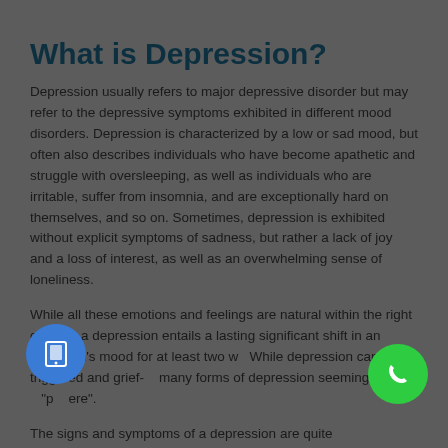What is Depression?
Depression usually refers to major depressive disorder but may refer to the depressive symptoms exhibited in different mood disorders. Depression is characterized by a low or sad mood, but often also describes individuals who have become apathetic and struggle with oversleeping, as well as individuals who are irritable, suffer from insomnia, and are exceptionally hard on themselves, and so on. Sometimes, depression is exhibited without explicit symptoms of sadness, but rather a lack of joy and a loss of interest, as well as an overwhelming sense of loneliness.
While all these emotions and feelings are natural within the right context, a depression entails a lasting significant shift in an individual's mood for at least two w... While depression can be triggered and grief-...many forms of depression seemingly come "p...ere".
The signs and symptoms of a depression are quite